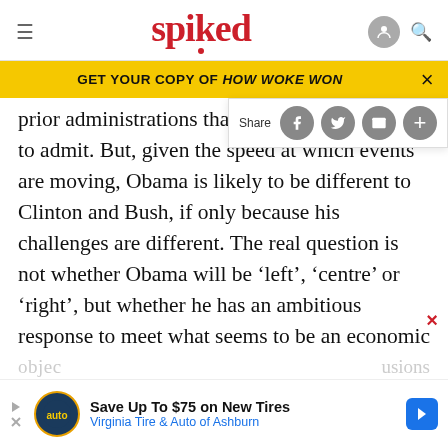spiked
GET YOUR COPY OF HOW WOKE WON
prior administrations than some to admit. But, given the speed at which events are moving, Obama is likely to be different to Clinton and Bush, if only because his challenges are different. The real question is not whether Obama will be 'left', 'centre' or 'right', but whether he has an ambitious response to meet what seems to be an economic crisis of historic proportions (while at the same time, trying to prosecute wars on multiple fronts, among other
[Figure (screenshot): Share overlay with social media buttons (Facebook, Twitter, Email, Plus)]
[Figure (infographic): Advertisement: Save Up To $75 on New Tires - Virginia Tire & Auto of Ashburn]